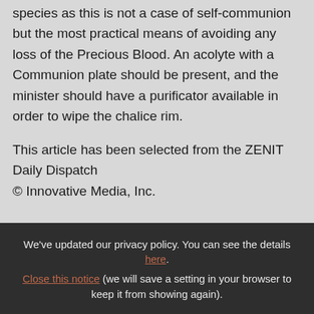species as this is not a case of self-communion but the most practical means of avoiding any loss of the Precious Blood. An acolyte with a Communion plate should be present, and the minister should have a purificator available in order to wipe the chalice rim.
This article has been selected from the ZENIT Daily Dispatch
© Innovative Media, Inc.
We've updated our privacy policy. You can see the details here. Close this notice (we will save a setting in your browser to keep it from showing again).